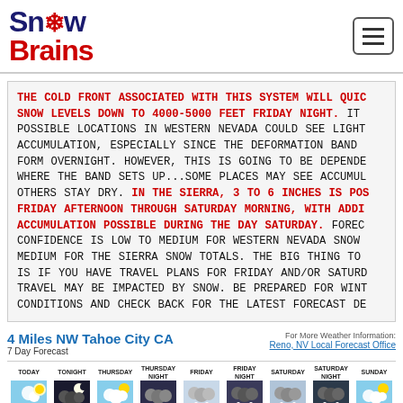Snow Brains
THE COLD FRONT ASSOCIATED WITH THIS SYSTEM WILL QUICKLY DROP SNOW LEVELS DOWN TO 4000-5000 FEET FRIDAY NIGHT. IT IS POSSIBLE LOCATIONS IN WESTERN NEVADA COULD SEE LIGHT SNOW ACCUMULATION, ESPECIALLY SINCE THE DEFORMATION BAND COULD FORM OVERNIGHT. HOWEVER, THIS IS GOING TO BE DEPENDENT ON WHERE THE BAND SETS UP...SOME PLACES MAY SEE ACCUMULATION WHILE OTHERS STAY DRY. IN THE SIERRA, 3 TO 6 INCHES IS POSSIBLE FROM FRIDAY AFTERNOON THROUGH SATURDAY MORNING, WITH ADDITIONAL ACCUMULATION POSSIBLE DURING THE DAY SATURDAY. FORECAST CONFIDENCE IS LOW TO MEDIUM FOR WESTERN NEVADA SNOW AND LOW TO MEDIUM FOR THE SIERRA SNOW TOTALS. THE BIG THING TO KNOW IS IF YOU HAVE TRAVEL PLANS FOR FRIDAY AND/OR SATURDAY, YOUR TRAVEL MAY BE IMPACTED BY SNOW. BE PREPARED FOR WINTER CONDITIONS AND CHECK BACK FOR THE LATEST FORECAST DETAILS.
4 Miles NW Tahoe City CA – 7 Day Forecast
For More Weather Information: Reno, NV Local Forecast Office
[Figure (infographic): 7-day weather forecast icons for 4 Miles NW Tahoe City CA showing TODAY, TONIGHT, THURSDAY, THURSDAY NIGHT, FRIDAY, FRIDAY NIGHT, SATURDAY, SATURDAY NIGHT, SUNDAY with weather icons (sunny, cloudy, snowy)]